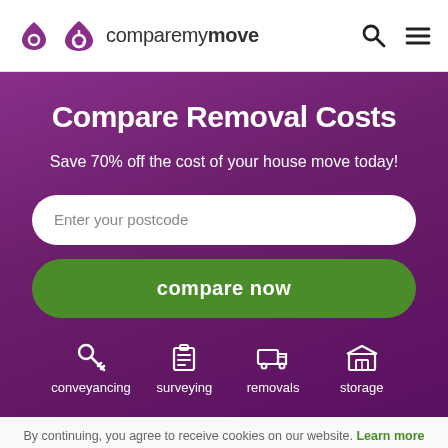[Figure (logo): comparemymove logo with purple house icon and text 'comparemymove']
Compare Removal Costs
Save 70% off the cost of your house move today!
Enter your postcode
compare now
conveyancing
surveying
removals
storage
By continuing, you agree to receive cookies on our website. Learn more ✕